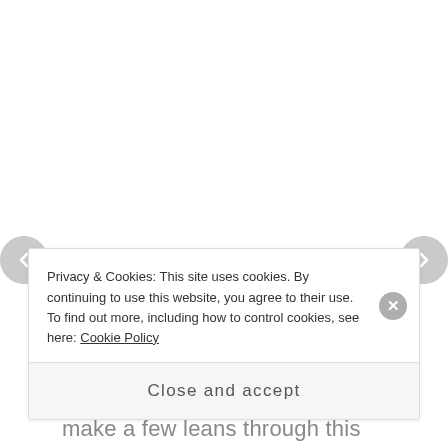The final exhibit is the super-cool underwater tube which is the shark tank. Be prepared to make a few leans through this exhibit because each time you'll see
Privacy & Cookies: This site uses cookies. By continuing to use this website, you agree to their use.
To find out more, including how to control cookies, see here: Cookie Policy
Close and accept